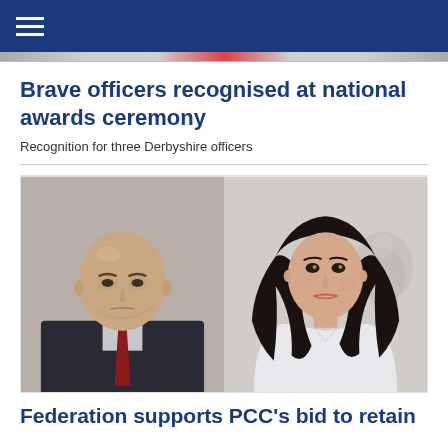☰ (navigation menu)
Brave officers recognised at national awards ceremony
Recognition for three Derbyshire officers
[Figure (photo): Two portrait photos side by side: left shows a middle-aged bald man in a dark suit with a red tie; right shows a young woman with long dark hair in a white shirt.]
Federation supports PCC's bid to retain